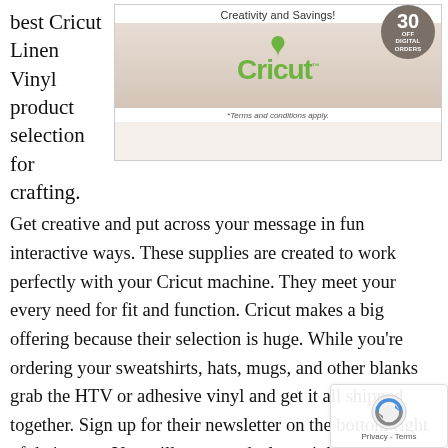best Cricut Linen Vinyl product selection for crafting.
[Figure (screenshot): Cricut advertisement banner showing 'Creativity and Savings!' with a 30% OFF Digital Orders badge, Cricut logo in green, and Terms and conditions apply footer.]
Get creative and put across your message in fun interactive ways. These supplies are created to work perfectly with your Cricut machine. They meet your every need for fit and function. Cricut makes a big offering because their selection is huge. While you're ordering your sweatshirts, hats, mugs, and other blanks grab the HTV or adhesive vinyl and get it all shipped together. Sign up for their newsletter on the bottom right of their page. You will get new deals straight to your inbox. A purchase from Cricut through these links supports this site. One of the most exciting things about getting a new Cricut is thinking about all the fun things you are going to make and a…
[Figure (other): reCAPTCHA widget overlay at bottom right with Privacy and Terms label.]